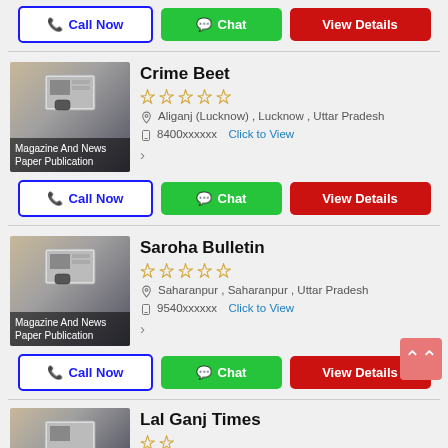[Figure (screenshot): Top call/chat/view details buttons row]
[Figure (photo): Crime Beet listing thumbnail - person using tablet/phone, overlay text Magazine And News Paper Publication]
Crime Beet
☆☆☆☆☆
Aliganj (Lucknow) , Lucknow , Uttar Pradesh
8400xxxxxx  Click to View
[Figure (screenshot): Crime Beet action buttons: Call Now, Chat, View Details]
[Figure (photo): Saroha Bulletin listing thumbnail - person using tablet/phone, overlay text Magazine And News Paper Publication]
Saroha Bulletin
☆☆☆☆☆
Saharanpur , Saharanpur , Uttar Pradesh
9540xxxxxx  Click to View
[Figure (screenshot): Saroha Bulletin action buttons: Call Now, Chat, View Details]
[Figure (photo): Lal Ganj Times listing thumbnail - partial view]
Lal Ganj Times